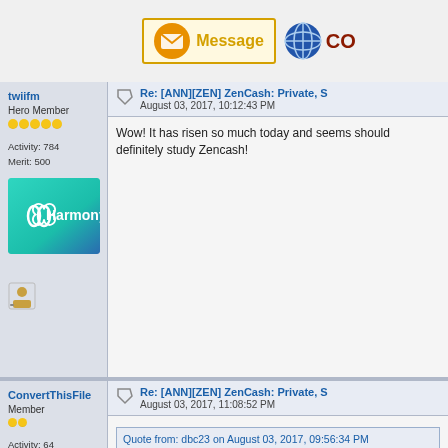[Figure (screenshot): Forum top navigation bar with Message button (orange envelope icon) and CO button (blue globe icon)]
twiifm
Hero Member
Activity: 784
Merit: 500
Re: [ANN][ZEN] ZenCash: Private, S
August 03, 2017, 10:12:43 PM
Wow! It has risen so much today and seems should definitely study Zencash!
[Figure (logo): Harmony logo - teal/turquoise background with white Harmony logo text and icon]
ConvertThisFile
Member
Activity: 64
Merit: 10
Re: [ANN][ZEN] ZenCash: Private, S
August 03, 2017, 11:08:52 PM
Quote from: dbc23 on August 03, 2017, 09:56:34 PM
Quote from: ConvertThisFile on August 03, 2017,
Quote from: Confucio on August 03, 2017, 07:1
http://getZen.cash Faucet giving away 100k
↵